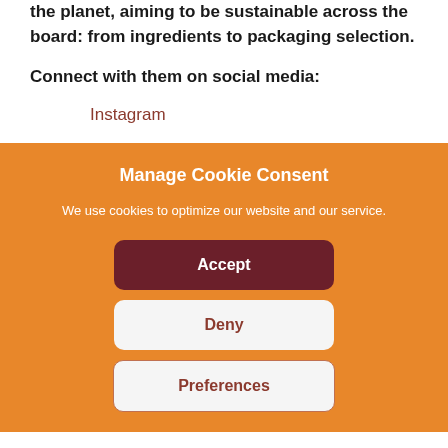the planet, aiming to be sustainable across the board: from ingredients to packaging selection.
Connect with them on social media:
Instagram
Manage Cookie Consent
We use cookies to optimize our website and our service.
Accept
Deny
Preferences